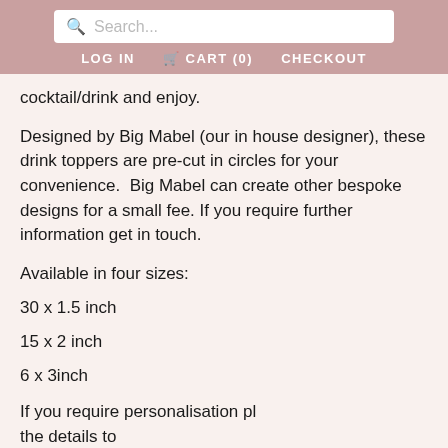Search... | LOG IN | CART (0) | CHECKOUT
cocktail/drink and enjoy.
Designed by Big Mabel (our in house designer), these drink toppers are pre-cut in circles for your convenience.  Big Mabel can create other bespoke designs for a small fee.  If you require further information get in touch.
Available in four sizes:
30 x 1.5 inch
15 x 2 inch
6 x 3inch
If you require personalisation please send the details to enquiries@incrediblecaketoppers.co.uk